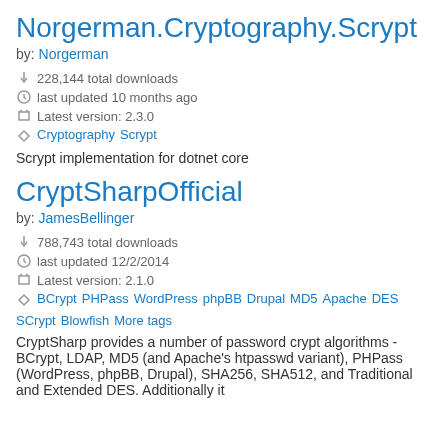Norgerman.Cryptography.Scrypt
by: Norgerman
228,144 total downloads
last updated 10 months ago
Latest version: 2.3.0
Cryptography Scrypt
Scrypt implementation for dotnet core
CryptSharpOfficial
by: JamesBellinger
788,743 total downloads
last updated 12/2/2014
Latest version: 2.1.0
BCrypt PHPass WordPress phpBB Drupal MD5 Apache DES SCrypt Blowfish More tags
CryptSharp provides a number of password crypt algorithms - BCrypt, LDAP, MD5 (and Apache's htpasswd variant), PHPass (WordPress, phpBB, Drupal), SHA256, SHA512, and Traditional and Extended DES. Additionally it